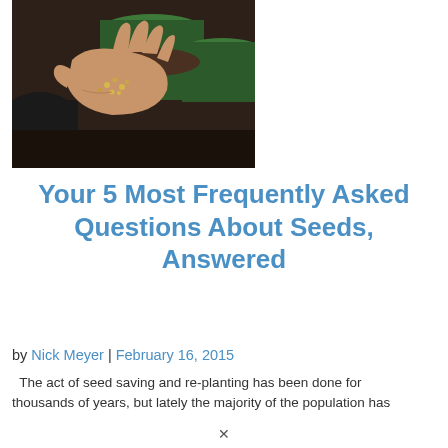[Figure (photo): Hands holding small seeds over dark soil in green pots]
Your 5 Most Frequently Asked Questions About Seeds, Answered
by Nick Meyer | February 16, 2015
The act of seed saving and re-planting has been done for thousands of years, but lately the majority of the population has